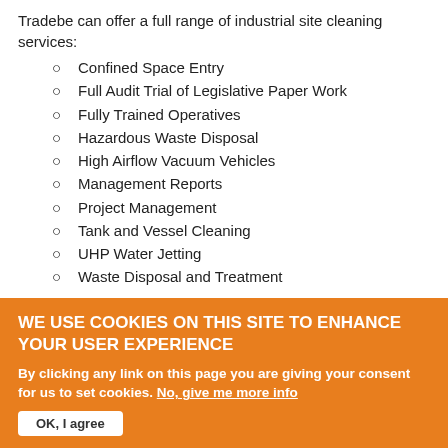Tradebe can offer a full range of industrial site cleaning services:
Confined Space Entry
Full Audit Trial of Legislative Paper Work
Fully Trained Operatives
Hazardous Waste Disposal
High Airflow Vacuum Vehicles
Management Reports
Project Management
Tank and Vessel Cleaning
UHP Water Jetting
Waste Disposal and Treatment
If you would like to learn more about how Tradebe's Industrial Site Cleaning services can help you, please complete the form to the right.
Related Services:
WE USE COOKIES ON THIS SITE TO ENHANCE YOUR USER EXPERIENCE
By clicking any link on this page you are giving your consent for us to set cookies. No, give me more info